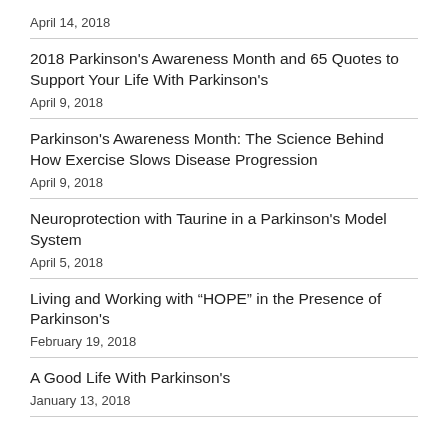April 14, 2018
2018 Parkinson's Awareness Month and 65 Quotes to Support Your Life With Parkinson's
April 9, 2018
Parkinson's Awareness Month: The Science Behind How Exercise Slows Disease Progression
April 9, 2018
Neuroprotection with Taurine in a Parkinson's Model System
April 5, 2018
Living and Working with “HOPE” in the Presence of Parkinson's
February 19, 2018
A Good Life With Parkinson's
January 13, 2018